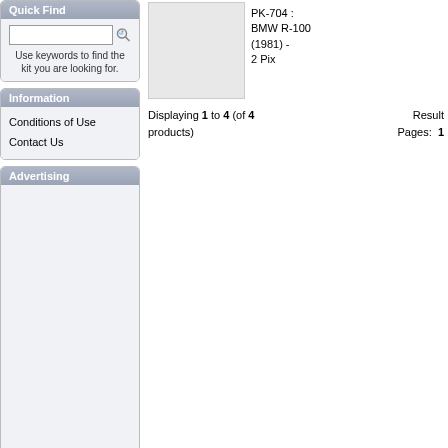Quick Find
Use keywords to find the kit you are looking for.
Information
Conditions of Use
Contact Us
Advertising
[Figure (other): Product thumbnail image placeholder for PK-704]
PK-704 : BMW R-100 (1981) - 2 Pix
Displaying 1 to 4 (of 4 products) Result Pages: 1